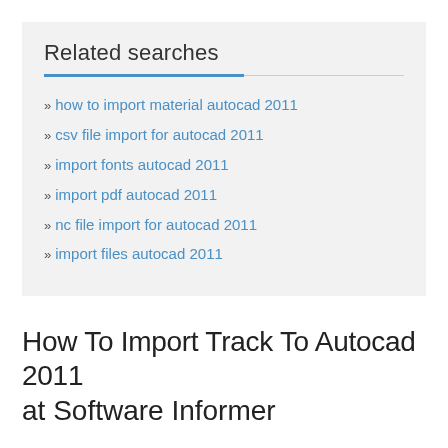Related searches
how to import material autocad 2011
csv file import for autocad 2011
import fonts autocad 2011
import pdf autocad 2011
nc file import for autocad 2011
import files autocad 2011
How To Import Track To Autocad 2011
at Software Informer